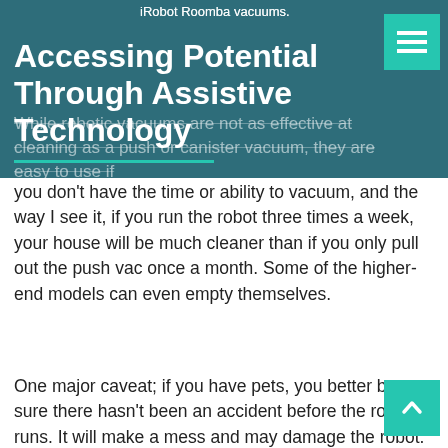iRobot Roomba vacuums.
Accessing Potential Through Assistive Technology
While robotic vacuums are not as effective at cleaning as a push or canister vacuum, they are easy to use if you don't have the time or ability to vacuum, and the way I see it, if you run the robot three times a week, your house will be much cleaner than if you only pull out the push vac once a month. Some of the higher-end models can even empty themselves.
One major caveat; if you have pets, you better be sure there hasn't been an accident before the robot runs. It will make a mess and may damage the robot.